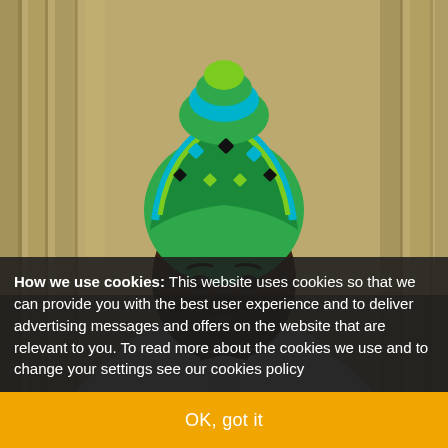[Figure (photo): A woman wearing a colorful green and blue African head wrap and a white collared shirt, photographed against a blurred bamboo background. She is looking directly at the camera with a composed expression.]
How we use cookies: This website uses cookies so that we can provide you with the best user experience and to deliver advertising messages and offers on the website that are relevant to you. To read more about the cookies we use and to change your settings see our cookies policy
OK, got it